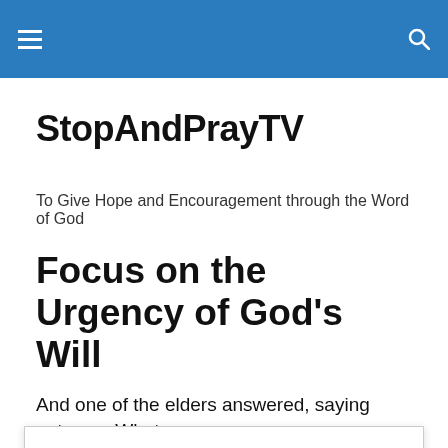StopAndPrayTV — navigation header with hamburger menu and search icon
StopAndPrayTV
To Give Hope and Encouragement through the Word of God
Focus on the Urgency of God's Will
And one of the elders answered, saying unto me, What
Privacy & Cookies: This site uses cookies. By continuing to use this website, you agree to their use.
To find out more, including how to control cookies, see here: Cookie Policy
white in the blood of the Lamb?